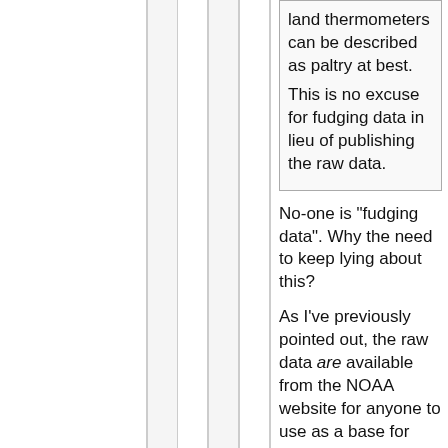land thermometers can be described as paltry at best.

This is no excuse for fudging data in lieu of publishing the raw data.
No-one is "fudging data". Why the need to keep lying about this?
As I've previously pointed out, the raw data are available from the NOAA website for anyone to use as a base for their own global temperature reconstruction, and a number of people have done exactly this:
http://rankxploits.com/